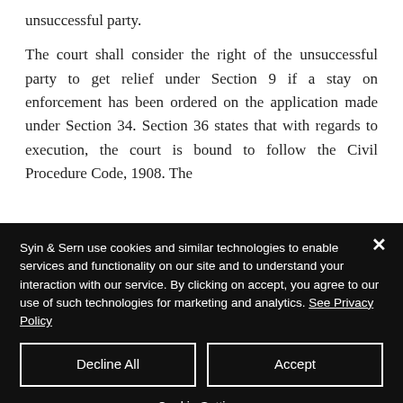unsuccessful party. The court shall consider the right of the unsuccessful party to get relief under Section 9 if a stay on enforcement has been ordered on the application made under Section 34. Section 36 states that with regards to execution, the court is bound to follow the Civil Procedure Code, 1908. The
Syin & Sern use cookies and similar technologies to enable services and functionality on our site and to understand your interaction with our service. By clicking on accept, you agree to our use of such technologies for marketing and analytics. See Privacy Policy